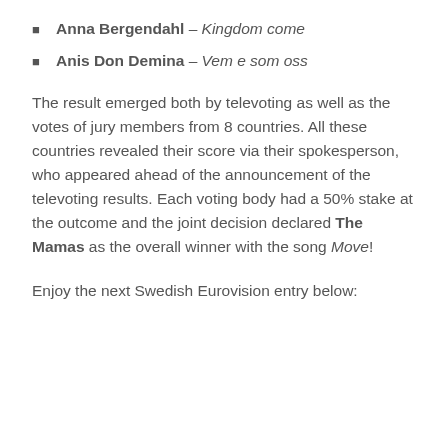Anna Bergendahl – Kingdom come
Anis Don Demina – Vem e som oss
The result emerged both by televoting as well as the votes of jury members from 8 countries. All these countries revealed their score via their spokesperson, who appeared ahead of the announcement of the televoting results. Each voting body had a 50% stake at the outcome and the joint decision declared The Mamas as the overall winner with the song Move!
Enjoy the next Swedish Eurovision entry below: